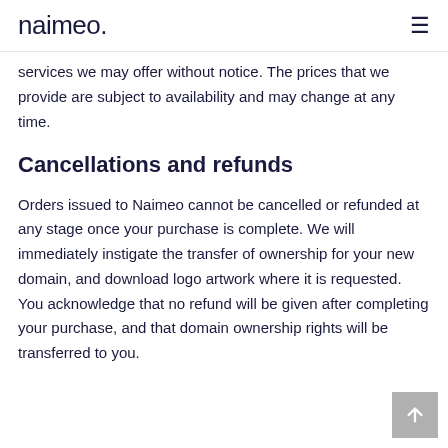naimeo.
services we may offer without notice. The prices that we provide are subject to availability and may change at any time.
Cancellations and refunds
Orders issued to Naimeo cannot be cancelled or refunded at any stage once your purchase is complete. We will immediately instigate the transfer of ownership for your new domain, and download logo artwork where it is requested. You acknowledge that no refund will be given after completing your purchase, and that domain ownership rights will be transferred to you.